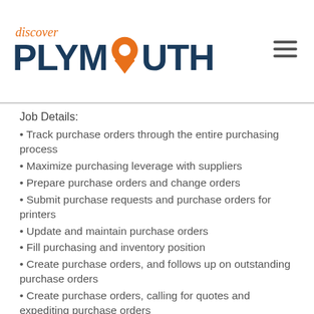[Figure (logo): Discover Plymouth logo with orange pin/location marker icon and dark blue text]
Job Details:
Track purchase orders through the entire purchasing process
Maximize purchasing leverage with suppliers
Prepare purchase orders and change orders
Submit purchase requests and purchase orders for printers
Update and maintain purchase orders
Fill purchasing and inventory position
Create purchase orders, and follows up on outstanding purchase orders
Create purchase orders, calling for quotes and expediting purchase orders
Enter all purchase orders into system
Understand all purchase order procedures and global purchasing policies
Monitor all purchasing requisitions